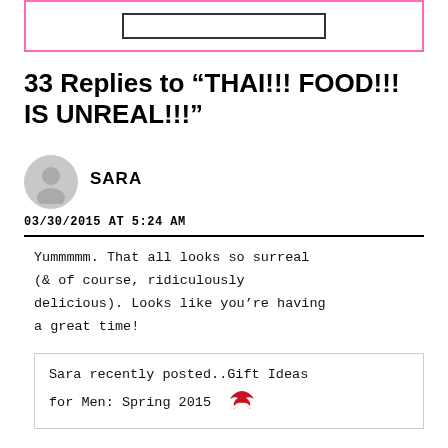[Figure (other): Top decorative box with pink border containing a smaller dark inner rectangle]
33 Replies to “THAI!!! FOOD!!! IS UNREAL!!!”
SARA
03/30/2015 AT 5:24 AM
Yummmmm. That all looks so surreal (& of course, ridiculously delicious). Looks like you’re having a great time!
Sara recently posted..Gift Ideas for Men: Spring 2015